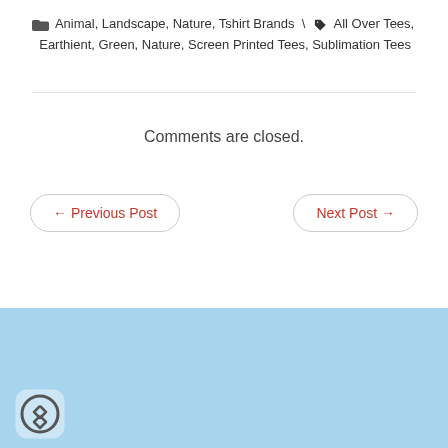Animal, Landscape, Nature, Tshirt Brands \ All Over Tees, Earthient, Green, Nature, Screen Printed Tees, Sublimation Tees
Comments are closed.
← Previous Post
Next Post →
Search
© Copyright 2022 - Tee Fetch